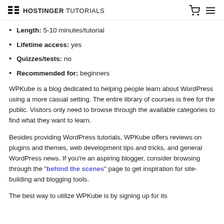HOSTINGER TUTORIALS
Length: 5-10 minutes/tutorial
Lifetime access: yes
Quizzes/tests: no
Recommended for: beginners
WPKube is a blog dedicated to helping people learn about WordPress using a more casual setting. The entire library of courses is free for the public. Visitors only need to browse through the available categories to find what they want to learn.
Besides providing WordPress tutorials, WPKube offers reviews on plugins and themes, web development tips and tricks, and general WordPress news. If you’re an aspiring blogger, consider browsing through the “behind the scenes” page to get inspiration for site-building and blogging tools.
The best way to utilize WPKube is by signing up for its